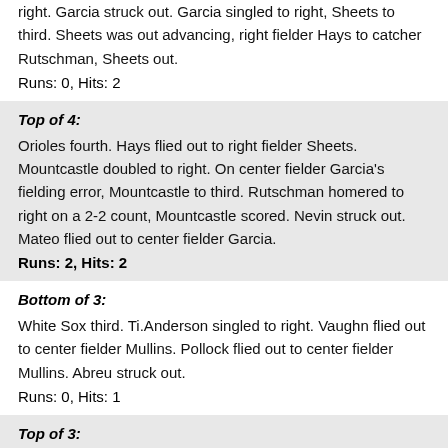right. Garcia struck out. Garcia singled to right, Sheets to third. Sheets was out advancing, right fielder Hays to catcher Rutschman, Sheets out.
Runs: 0, Hits: 2
Top of 4:
Orioles fourth. Hays flied out to right fielder Sheets. Mountcastle doubled to right. On center fielder Garcia's fielding error, Mountcastle to third. Rutschman homered to right on a 2-2 count, Mountcastle scored. Nevin struck out. Mateo flied out to center fielder Garcia.
Runs: 2, Hits: 2
Bottom of 3:
White Sox third. Ti.Anderson singled to right. Vaughn flied out to center fielder Mullins. Pollock flied out to center fielder Mullins. Abreu struck out.
Runs: 0, Hits: 1
Top of 3:
Orioles third. Martin struck out. Mullins singled to right. Mancini doubled to left, Mullins to third. Mullins was out advancing, left fielder Pollock to shortstop Ti.Anderson to catcher Zavala, Mullins out. Santander grounded